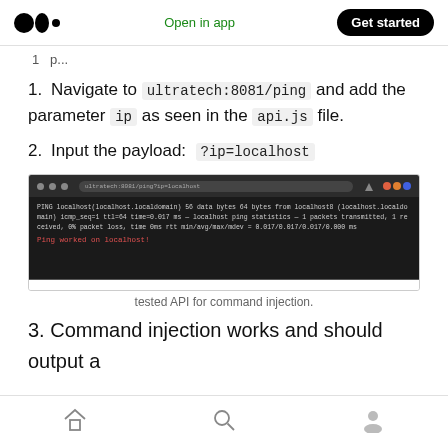Medium logo | Open in app | Get started
1 p...
1. Navigate to ultratech:8081/ping and add the parameter ip as seen in the api.js file.
2. Input the payload: ?ip=localhost
[Figure (screenshot): Browser screenshot showing terminal output with ping results and 'Ping worked on localhost!' in red text]
tested API for command injection.
3. Command injection works and should output a
Home | Search | Profile